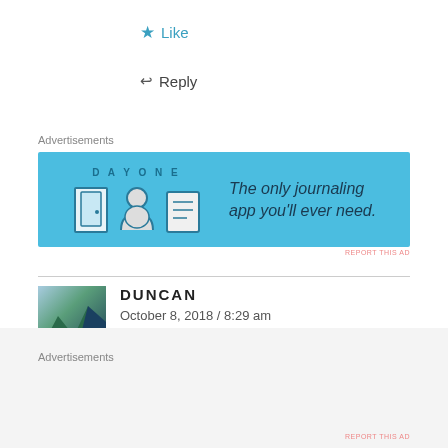★ Like
↩ Reply
Advertisements
[Figure (screenshot): Day One journaling app advertisement banner with blue background, app icons, and text: 'The only journaling app you'll ever need.']
REPORT THIS AD
DUNCAN
October 8, 2018 / 8:29 am
Wait, They're building a pulse chondola? Has that ever been done before?
Advertisements
REPORT THIS AD